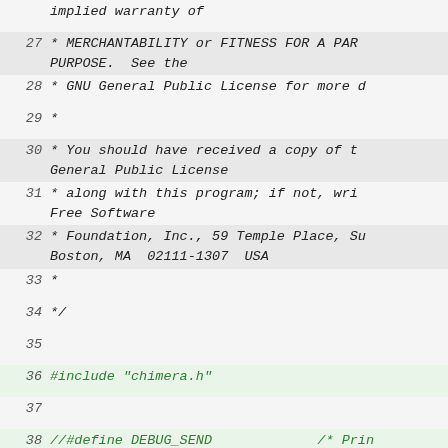implied warranty of
27  * MERCHANTABILITY or FITNESS FOR A PARTICULAR PURPOSE.  See the
28  * GNU General Public License for more d
29  *
30  * You should have received a copy of the GNU General Public License
31  * along with this program; if not, write to the Free Software
32  * Foundation, Inc., 59 Temple Place, Suite 330, Boston, MA  02111-1307  USA
33  *
34  */
35
36  #include "chimera.h"
37
38  //#define DEBUG_SEND    /* Print Values */
39  #define SERIAL_ON      /* Send using Serial Port */
40
41  /* Servo Tasks Constants */
42  #ifdef DUBUG_SEND